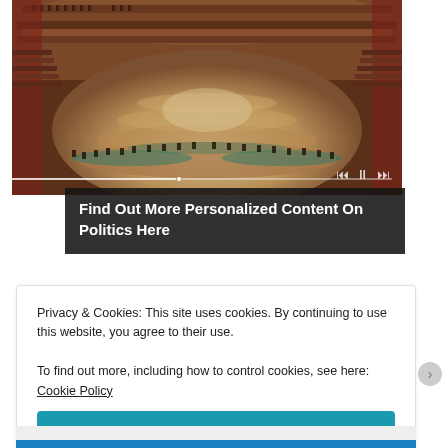[Figure (photo): Aerial view of Italian parliament chamber (Chamber of Deputies) filled with seated members, showing semicircular seating arrangement with red/brown wooden desks, central floor area, and ornate interior]
Find Out More Personalized Content On Politics Here
Privacy & Cookies: This site uses cookies. By continuing to use this website, you agree to their use.
To find out more, including how to control cookies, see here: Cookie Policy
Close and accept